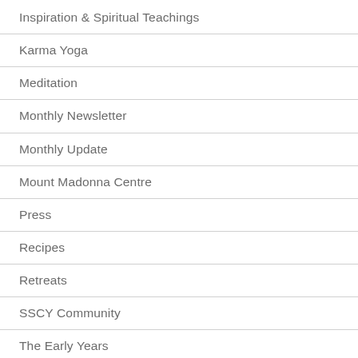Inspiration & Spiritual Teachings
Karma Yoga
Meditation
Monthly Newsletter
Monthly Update
Mount Madonna Centre
Press
Recipes
Retreats
SSCY Community
The Early Years